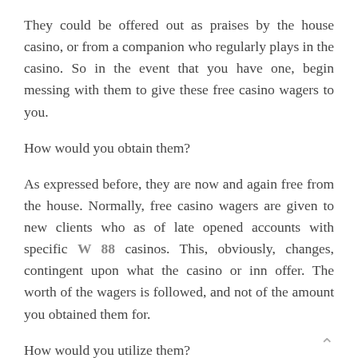They could be offered out as praises by the house casino, or from a companion who regularly plays in the casino. So in the event that you have one, begin messing with them to give these free casino wagers to you.
How would you obtain them?
As expressed before, they are now and again free from the house. Normally, free casino wagers are given to new clients who as of late opened accounts with specific W 88 casinos. This, obviously, changes, contingent upon what the casino or inn offer. The worth of the wagers is followed, and not of the amount you obtained them for.
How would you utilize them?
Utilize your free casino put everything on the line way you use chips during a game. A few starters would typically not